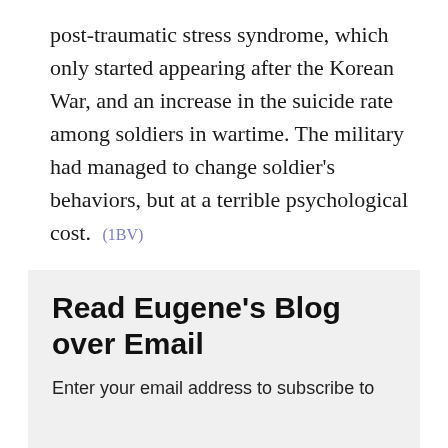post-traumatic stress syndrome, which only started appearing after the Korean War, and an increase in the suicide rate among soldiers in wartime. The military had managed to change soldier's behaviors, but at a terrible psychological cost. (1BV)
Read Eugene's Blog over Email
Enter your email address to subscribe to